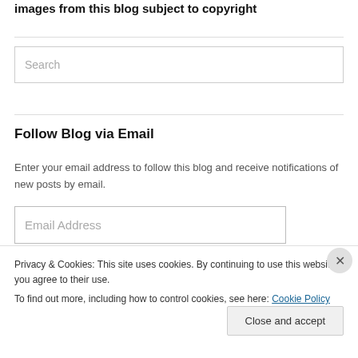images from this blog subject to copyright
[Figure (screenshot): Search input box with placeholder text 'Search']
Follow Blog via Email
Enter your email address to follow this blog and receive notifications of new posts by email.
[Figure (screenshot): Email Address input field]
Privacy & Cookies: This site uses cookies. By continuing to use this website, you agree to their use.
To find out more, including how to control cookies, see here: Cookie Policy
Close and accept